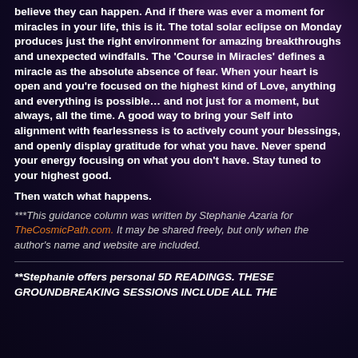believe they can happen. And if there was ever a moment for miracles in your life, this is it. The total solar eclipse on Monday produces just the right environment for amazing breakthroughs and unexpected windfalls. The 'Course in Miracles' defines a miracle as the absolute absence of fear. When your heart is open and you're focused on the highest kind of Love, anything and everything is possible… and not just for a moment, but always, all the time. A good way to bring your Self into alignment with fearlessness is to actively count your blessings, and openly display gratitude for what you have. Never spend your energy focusing on what you don't have. Stay tuned to your highest good.
Then watch what happens.
***This guidance column was written by Stephanie Azaria for TheCosmicPath.com. It may be shared freely, but only when the author's name and website are included.
**Stephanie offers personal 5D READINGS. THESE GROUNDBREAKING SESSIONS INCLUDE ALL THE